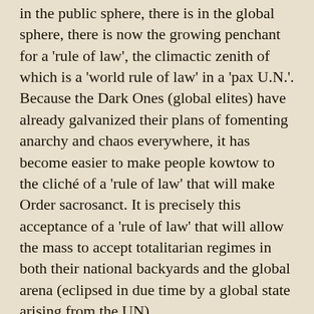in the public sphere, there is in the global sphere, there is now the growing penchant for a 'rule of law', the climactic zenith of which is a 'world rule of law' in a 'pax U.N.'. Because the Dark Ones (global elites) have already galvanized their plans of fomenting anarchy and chaos everywhere, it has become easier to make people kowtow to the cliché of a 'rule of law' that will make Order sacrosanct. It is precisely this acceptance of a 'rule of law' that will allow the mass to accept totalitarian regimes in both their national backyards and the global arena (eclipsed in due time by a global state arising from the UN).
Why this context had come about can be simplified as follows:
• Across epochs, Light Beings – embodied as